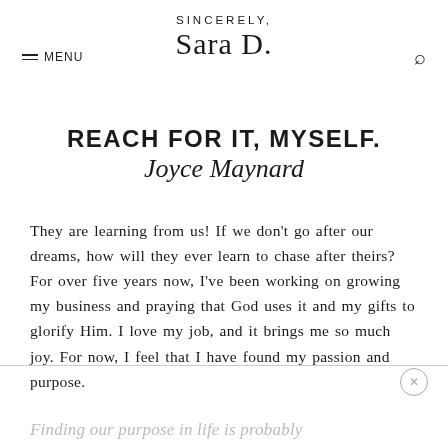SINCERELY, Sara D.
REACH FOR IT, MYSELF.
Joyce Maynard
They are learning from us! If we don't go after our dreams, how will they ever learn to chase after theirs? For over five years now, I've been working on growing my business and praying that God uses it and my gifts to glorify Him. I love my job, and it brings me so much joy. For now, I feel that I have found my passion and purpose.
Finding our purpose in life is probably